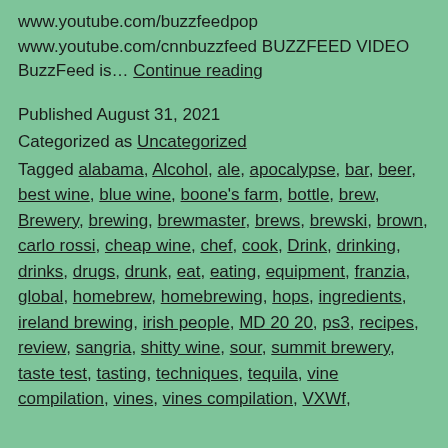www.youtube.com/buzzfeedpop www.youtube.com/cnnbuzzfeed BUZZFEED VIDEO BuzzFeed is… Continue reading
Published August 31, 2021
Categorized as Uncategorized
Tagged alabama, Alcohol, ale, apocalypse, bar, beer, best wine, blue wine, boone's farm, bottle, brew, Brewery, brewing, brewmaster, brews, brewski, brown, carlo rossi, cheap wine, chef, cook, Drink, drinking, drinks, drugs, drunk, eat, eating, equipment, franzia, global, homebrew, homebrewing, hops, ingredients, ireland brewing, irish people, MD 20 20, ps3, recipes, review, sangria, shitty wine, sour, summit brewery, taste test, tasting, techniques, tequila, vine compilation, vines, vines compilation, VXWf,